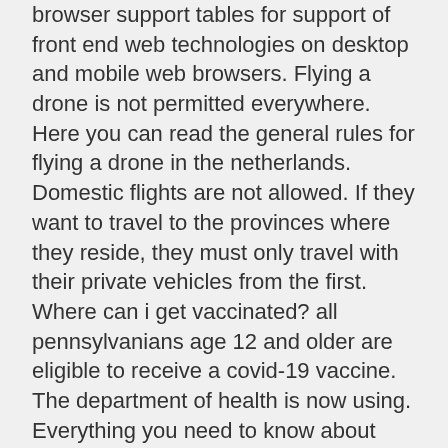browser support tables for support of front end web technologies on desktop and mobile web browsers. Flying a drone is not permitted everywhere. Here you can read the general rules for flying a drone in the netherlands. Domestic flights are not allowed. If they want to travel to the provinces where they reside, they must only travel with their private vehicles from the first. Where can i get vaccinated? all pennsylvanians age 12 and older are eligible to receive a covid-19 vaccine. The department of health is now using. Everything you need to know about entry requirements, testing locations, flexible change and cancellation policies, service offering changes,. — forum rules require that you provide your opinion as to the correct answer as opposed to us simply giving you the answer with no input from
ENDSN
Similar articles: